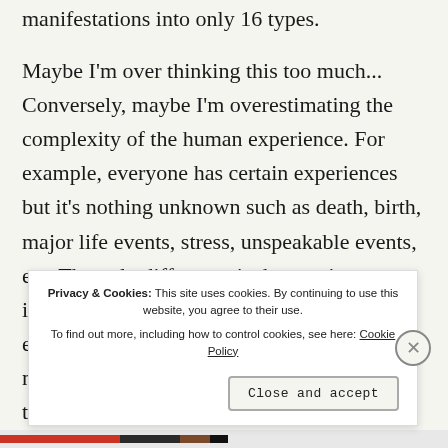manifestations into only 16 types.
Maybe I'm over thinking this too much... Conversely, maybe I'm overestimating the complexity of the human experience. For example, everyone has certain experiences but it's nothing unknown such as death, birth, major life events, stress, unspeakable events, etc. The only difference is the varying intensity and the subjective perception of the experience. Still at the core, these events no matter how different can be distilled to t[...] P[...]
Privacy & Cookies: This site uses cookies. By continuing to use this website, you agree to their use.
To find out more, including how to control cookies, see here: Cookie Policy
Close and accept